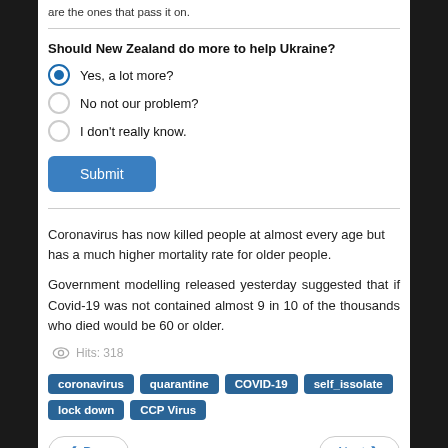are the ones that pass it on.
Should New Zealand do more to help Ukraine?
Yes, a lot more? (selected)
No not our problem?
I don't really know.
Submit
Coronavirus has now killed people at almost every age but has a much higher mortality rate for older people.
Government modelling released yesterday suggested that if Covid-19 was not contained almost 9 in 10 of the thousands who died would be 60 or older.
Hits: 318
coronavirus   quarantine   COVID-19   self_issolate   lock down   CCP Virus
Prev   Next